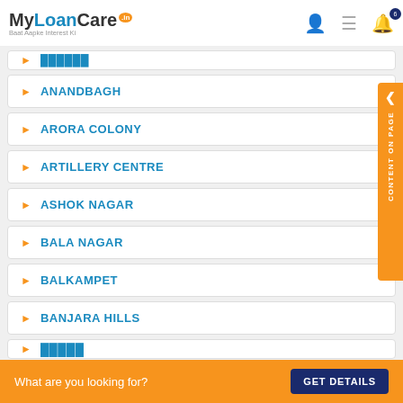MyLoanCare.in – Baat Aapke Interest Ki
ANANDBAGH
ARORA COLONY
ARTILLERY CENTRE
ASHOK NAGAR
BALA NAGAR
BALKAMPET
BANJARA HILLS
What are you looking for?
GET DETAILS